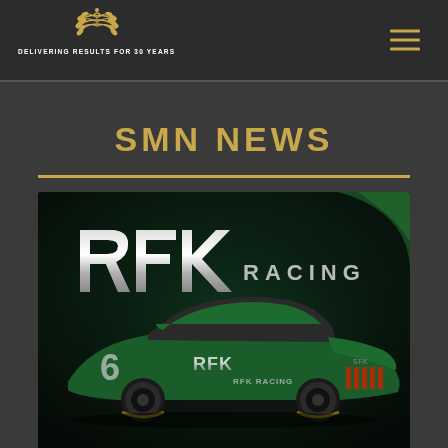DELIVERING RESULTS FOR 30 YEARS
SMN NEWS
[Figure (photo): RFK Racing promotional photo showing a green and dark NASCAR Ford Mustang race car with RFK Racing logo and branding, car number 6]